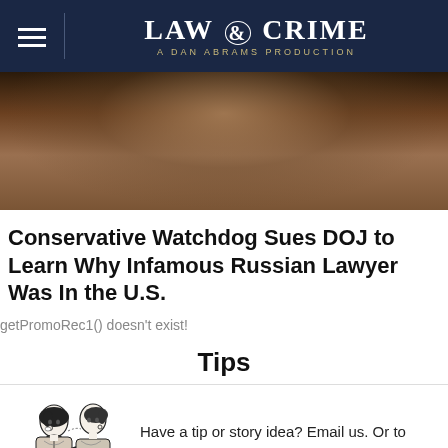LAW & CRIME — A DAN ABRAMS PRODUCTION
[Figure (photo): Cropped close-up photo of a woman, partially visible from the chin down, warm brown tones, appears to be a TV or video screenshot]
Conservative Watchdog Sues DOJ to Learn Why Infamous Russian Lawyer Was In the U.S.
getPromoRec1() doesn't exist!
Tips
[Figure (illustration): Black and white illustration of two women, retro style, one whispering to the other]
Have a tip or story idea? Email us. Or to keep it anonymous, click here.
You may also like: